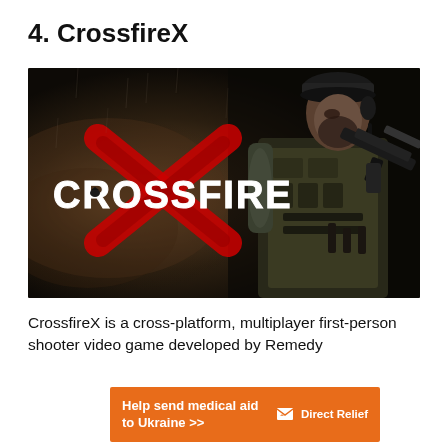4. CrossfireX
[Figure (photo): CrossfireX game promotional art showing a military soldier in tactical gear holding a weapon, with the CrossfireX logo prominently displayed in white and red on a dark smoky background]
CrossfireX is a cross-platform, multiplayer first-person shooter video game developed by Remedy
[Figure (infographic): Orange Direct Relief advertisement banner: 'Help send medical aid to Ukraine >>' with Direct Relief logo on the right]